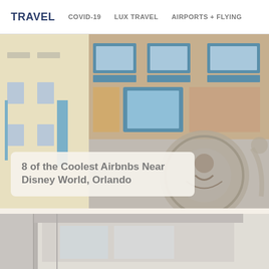TRAVEL   COVID-19   LUX TRAVEL   AIRPORTS + FLYING
[Figure (photo): Collage of colorful building facades and murals near Disney World Orlando — top left yellow building with blue shutters, top right brick building with blue-framed screens and murals, bottom center large decorative circular mural on a building exterior]
8 of the Coolest Airbnbs Near Disney World, Orlando
[Figure (photo): Partial view of a grey/industrial building or transit station at the bottom of the page, partially cut off]